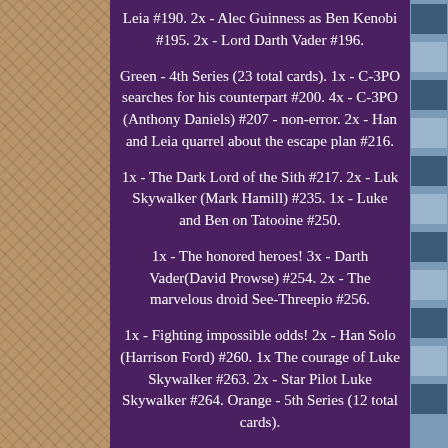Leia #190. 2x - Alec Guinness as Ben Kenobi #195. 2x - Lord Darth Vader #196.
Green - 4th Series (23 total cards). 1x - C-3PO searches for his counterpart #200. 4x - C-3PO (Anthony Daniels) #207 - non-error. 2x - Han and Leia quarrel about the escape plan #216.
1x - The Dark Lord of the Sith #217. 2x - Luk Skywalker (Mark Hamill) #235. 1x - Luke and Ben on Tatooine #250.
1x - The honored heroes! 3x - Darth Vader(David Prowse) #254. 2x - The marvelous droid See-Threepio #256.
1x - Fighting impossible odds! 2x - Han Solo (Harrison Ford) #260. 1x The courage of Luke Skywalker #263. 2x - Star Pilot Luke Skywalker #264. Orange - 5th Series (12 total cards).
1x - Luk Skywalker farm boy-turned-warrior! 1x - Corridors of the Death Star #272. 1x - Its not wise to upset a Wookiee! 1x - The stormtroopers assemble #292. 1x - Leia wishes Luke good luck!
2x - Director George Lucas and Greedo #305. 1x - Directing the Cantina creatures #308. 1x - Inside the Millennium Falcon #315. 1x - George Lucas directs his